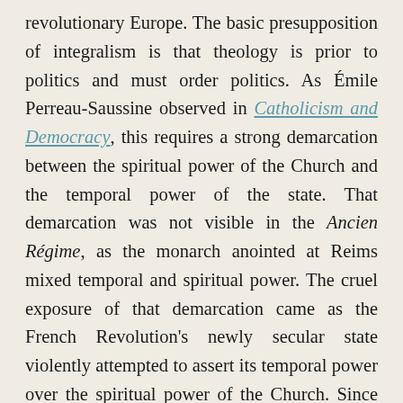revolutionary Europe. The basic presupposition of integralism is that theology is prior to politics and must order politics. As Émile Perreau-Saussine observed in Catholicism and Democracy, this requires a strong demarcation between the spiritual power of the Church and the temporal power of the state. That demarcation was not visible in the Ancien Régime, as the monarch anointed at Reims mixed temporal and spiritual power. The cruel exposure of that demarcation came as the French Revolution's newly secular state violently attempted to assert its temporal power over the spiritual power of the Church. Since Catholics could no longer rely on their monarch—a Christian head of a Christian state—to protect the Church's liberties, early 19th century Catholic political thinkers sought a deeper understanding of the principles of authority.